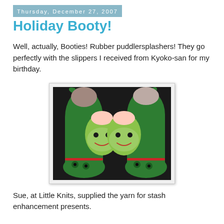Thursday, December 27, 2007
Holiday Booty!
Well, actually, Booties! Rubber puddlersplashers! They go perfectly with the slippers I received from Kyoko-san for my birthday.
[Figure (photo): Photo of green rubber frog rain boots and green frog-face slippers arranged on a dark background. The boots are shiny green with frog face details on the toes. The slippers are soft green with smiling frog faces and open tops.]
Sue, at Little Knits, supplied the yarn for stash enhancement presents.